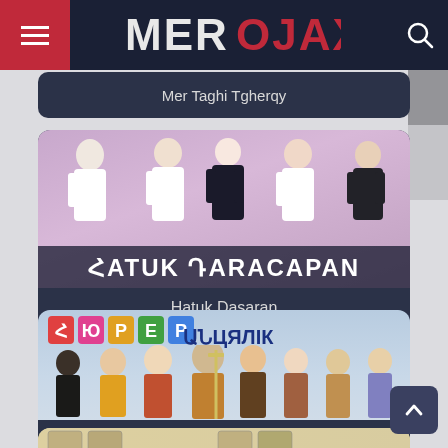MEROJAX
Mer Taghi Tgherqy
[Figure (screenshot): TV show card for Hatuk Dasaran showing four people standing in front of a purple background with Armenian text overlay]
Hatuk Dasaran
[Figure (screenshot): TV show card for Hyurer Ancyalic showing a group of people in costumes with colorful Armenian title text at top]
Hyurer Ancyalic
[Figure (screenshot): Partial view of another TV show card at bottom with character portraits]